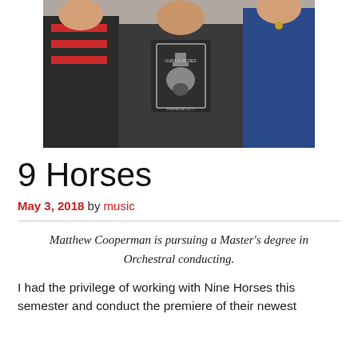[Figure (photo): Group photo of three people standing together. Center person wears a dark Guns N' Roses t-shirt. Left person wears a red and black striped top. Right person wears a blue top.]
9 Horses
May 3, 2018 by music
Matthew Cooperman is pursuing a Master's degree in Orchestral conducting.
I had the privilege of working with Nine Horses this semester and conduct the premiere of their newest